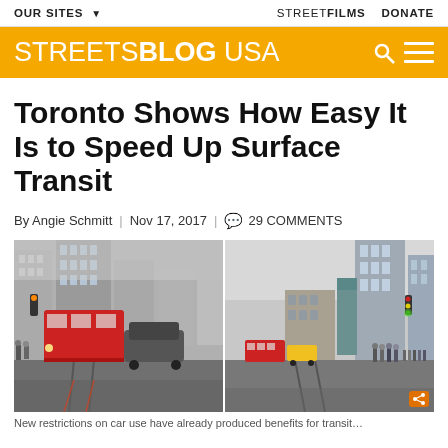OUR SITES ▼   STREETFILMS   DONATE
STREETSBLOG USA
Toronto Shows How Easy It Is to Speed Up Surface Transit
By Angie Schmitt | Nov 17, 2017 | 💬 29 COMMENTS
[Figure (photo): Two side-by-side street photos of Toronto surface transit (streetcars) with city buildings in background]
New restrictions on car use have already produced benefits for transit...